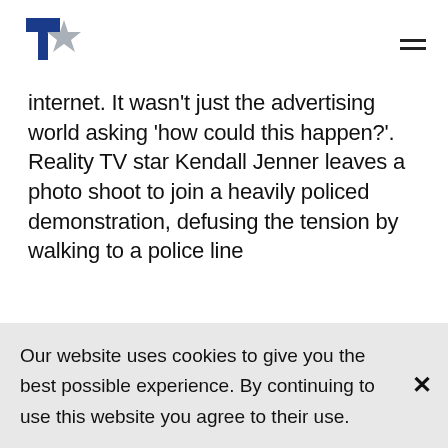[Logo: 7star]
internet. It wasn't just the advertising world asking 'how could this happen?'. Reality TV star Kendall Jenner leaves a photo shoot to join a heavily policed demonstration, defusing the tension by walking to a police line
Our website uses cookies to give you the best possible experience. By continuing to use this website you agree to their use.